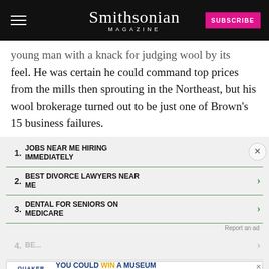Smithsonian MAGAZINE
young man with a knack for judging wool by its feel. He was certain he could command top prices from the mills then sprouting in the Northeast, but his wool brokerage turned out to be just one of Brown's 15 business failures.
1. JOBS NEAR ME HIRING IMMEDIATELY
2. BEST DIVORCE LAWYERS NEAR ME
3. DENTAL FOR SENIORS ON MEDICARE
4. BE... (obscured by ad)
5. TOP RATED WALK IN TUB
[Figure (infographic): Quaker advertisement banner: YOU COULD WIN A MUSEUM FIELD TRIP TO D.C. with a LEARN MORE button. No purchase necessary, ends 8/14/22. See website for details and official rules.]